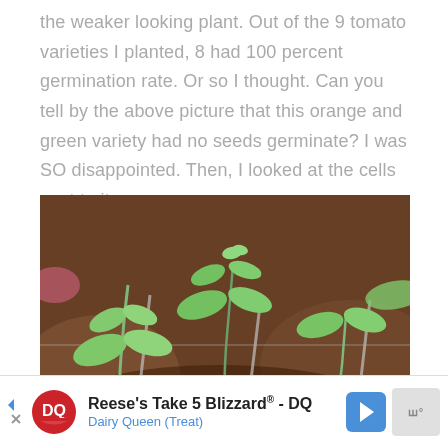the weaker looking plant.  Out of the 9 tomato varieties I planted, 8 had 100 percent germination rate.  Or so I thought.  Can you tell by the above picture that this orange and green variety had no seeds germinate? I was SO disappointed.  Then, I looked at the cells next to it...
[Figure (photo): Close-up photo of tomato seedlings growing in black seed tray cells filled with dark soil. Several small green seedlings with pairs of true leaves are visible. The background shows more tray cells and slightly blurred.]
[Figure (screenshot): Advertisement banner for Reese's Take 5 Blizzard by Dairy Queen (Treat). Shows DQ logo, ad title in bold, subtitle in blue, a blue navigation arrow icon on the right, and a gray menu icon.]